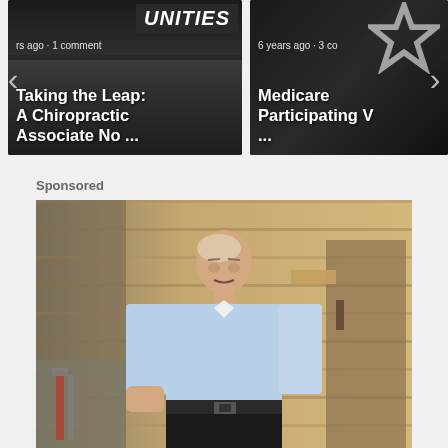[Figure (screenshot): Carousel card 1: dark background with 'UNITIES' sign text visible, metadata 'rs ago · 1 comment', title 'Taking the Leap: A Chiropractic Associate No ...']
[Figure (screenshot): Carousel card 2: dark background with star graphic, metadata '6 years ago · 3 co', title 'Medicare Participating V ...']
Sponsored
[Figure (photo): Sponsored content photo: an older man with white/grey hair wearing a light blue dress shirt and dark trousers with a belt, standing in front of wooden planks and construction materials.]